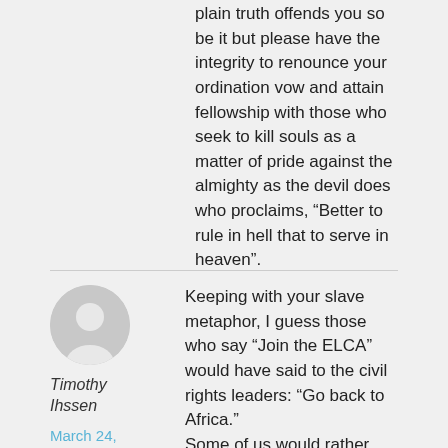plain truth offends you so be it but please have the integrity to renounce your ordination vow and attain fellowship with those who seek to kill souls as a matter of pride against the almighty as the devil does who proclaims, “Better to rule in hell that to serve in heaven”.
Timothy Ihssen
March 24, 2015 # 9:07 pm
Keeping with your slave metaphor, I guess those who say “Join the ELCA” would have said to the civil rights leaders: “Go back to Africa.” Some of us would rather fight than switch. There’s no way to say this without sounding a bit superior, but I believe the LCMS has the better